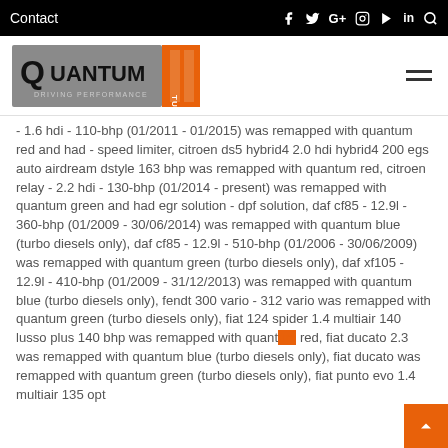Contact  f  y  G+  Instagram  YouTube  in  Search
[Figure (logo): Quantum Tuning - Driving Performance logo with orange and black design]
- 1.6 hdi - 110-bhp (01/2011 - 01/2015) was remapped with quantum red and had - speed limiter, citroen ds5 hybrid4 2.0 hdi hybrid4 200 egs auto airdream dstyle 163 bhp was remapped with quantum red, citroen relay - 2.2 hdi - 130-bhp (01/2014 - present) was remapped with quantum green and had egr solution - dpf solution, daf cf85 - 12.9l - 360-bhp (01/2009 - 30/06/2014) was remapped with quantum blue (turbo diesels only), daf cf85 - 12.9l - 510-bhp (01/2006 - 30/06/2009) was remapped with quantum green (turbo diesels only), daf xf105 - 12.9l - 410-bhp (01/2009 - 31/12/2013) was remapped with quantum blue (turbo diesels only), fendt 300 vario - 312 vario was remapped with quantum green (turbo diesels only), fiat 124 spider 1.4 multiair 140 lusso plus 140 bhp was remapped with quantum red, fiat ducato 2.3 was remapped with quantum blue (turbo diesels only), fiat ducato was remapped with quantum green (turbo diesels only), fiat punto evo 1.4 multiair 135 opt